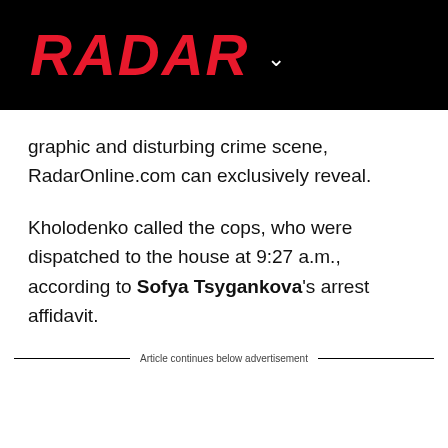RADAR
graphic and disturbing crime scene, RadarOnline.com can exclusively reveal.
Kholodenko called the cops, who were dispatched to the house at 9:27 a.m., according to Sofya Tsygankova's arrest affidavit.
Article continues below advertisement